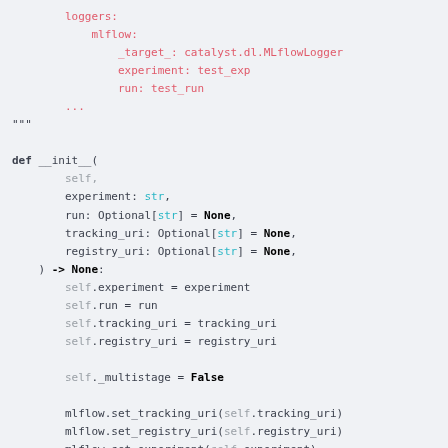loggers:
    mlflow:
        _target_: catalyst.dl.MLflowLogger
        experiment: test_exp
        run: test_run
    ...
"""

def __init__(
    self,
    experiment: str,
    run: Optional[str] = None,
    tracking_uri: Optional[str] = None,
    registry_uri: Optional[str] = None,
) -> None:
    self.experiment = experiment
    self.run = run
    self.tracking_uri = tracking_uri
    self.registry_uri = registry_uri

    self._multistage = False

    mlflow.set_tracking_uri(self.tracking_uri)
    mlflow.set_registry_uri(self.registry_uri)
    mlflow.set_experiment(self.experiment)
    .get_or_start_run(run_name=self.run)